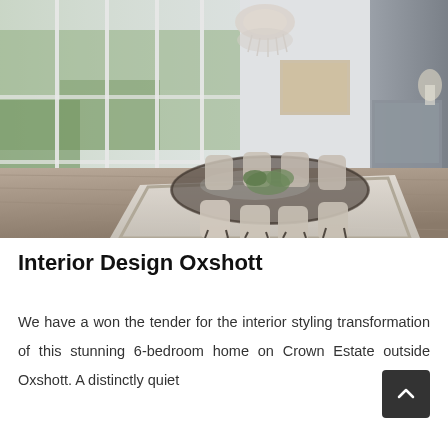[Figure (photo): Interior photo of a modern dining room with a large oval glass dining table surrounded by upholstered chairs in beige/grey tones, a crystal chandelier overhead, floor-to-ceiling glass doors opening to a garden, hardwood floors, a white area rug, framed artwork on the wall, and a dark accent wall on the right.]
Interior Design Oxshott
We have a won the tender for the interior styling transformation of this stunning 6-bedroom home on Crown Estate outside Oxshott. A distinctly quiet